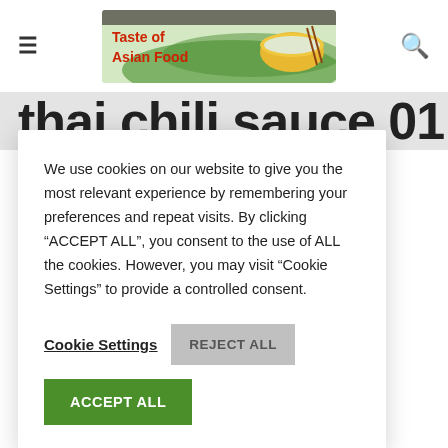[Figure (logo): Taste of Asian Food website logo with bowl of rice and chopsticks on green leaf background]
thai chili sauce 01
We use cookies on our website to give you the most relevant experience by remembering your preferences and repeat visits. By clicking “ACCEPT ALL”, you consent to the use of ALL the cookies. However, you may visit “Cookie Settings” to provide a controlled consent.
Cookie Settings
REJECT ALL
ACCEPT ALL